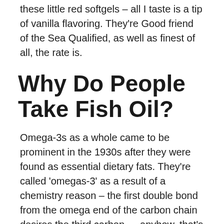There's absolutely nothing shady regarding these little red softgels – all I taste is a tip of vanilla flavoring. They're Good friend of the Sea Qualified, as well as finest of all, the rate is.
Why Do People Take Fish Oil?
Omega-3s as a whole came to be prominent in the 1930s after they were found as essential dietary fats. They're called 'omegas-3' as a result of a chemistry reason – the first double bond from the omega end of the carbon chain desires the third carbon … anyhow, that's trivial. What is important is that our bodies can't develop omega-3s from